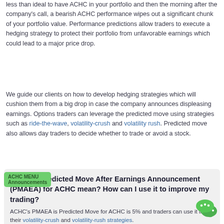less than ideal to have ACHC in your portfolio and then the morning after the company's call, a bearish ACHC performance wipes out a significant chunk of your portfolio value. Performance predictions allow traders to execute a hedging strategy to protect their portfolio from unfavorable earnings which could lead to a major price drop.
We guide our clients on how to develop hedging strategies which will cushion them from a big drop in case the company announces displeasing earnings. Options traders can leverage the predicted move using strategies such as ride-the-wave, volatility-crush and volatility rush. Predicted move also allows day traders to decide whether to trade or avoid a stock.
3. What does Predicted Move After Earnings Announcement (PMAEA) for ACHC mean? How can I use it to improve my trading?
ACHC's PMAEA is Predicted Move for ACHC is 5% and traders can use it in their volatility-crush and volatility-rush strategies.